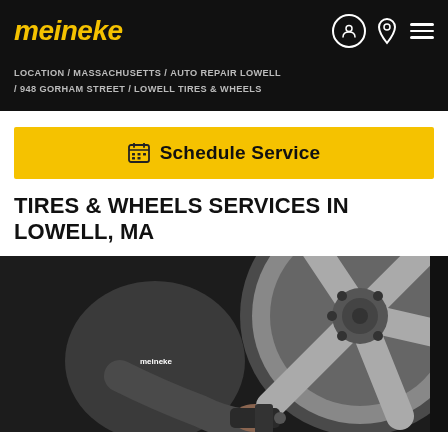meineke
LOCATION / MASSACHUSETTS / AUTO REPAIR LOWELL / 948 GORHAM STREET / LOWELL TIRES & WHEELS
Schedule Service
TIRES & WHEELS SERVICES IN LOWELL, MA
[Figure (photo): A mechanic in a grey Meineke t-shirt using a power tool to work on a silver alloy wheel/tire of a vehicle in a dark shop environment.]